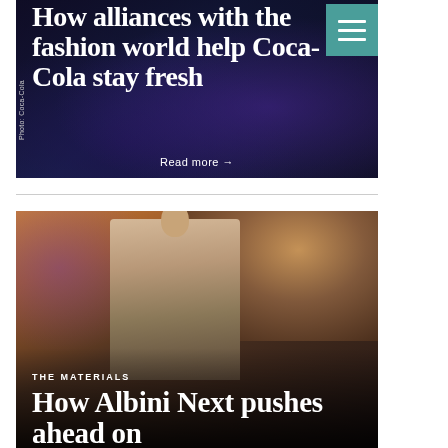[Figure (photo): Dark blue-tinted editorial photo (Coca-Cola event) with white bold headline overlay: 'How alliances with the fashion world help Coca-Cola stay fresh' and a 'Read more →' link. A teal hamburger menu icon appears top-right.]
How alliances with the fashion world help Coca-Cola stay fresh
Photo: Coca-Cola
[Figure (photo): Fashion runway photo showing a male model in a beige suit walking a runway with an audience seated behind in a warm-lit outdoor venue. Overlay text: 'THE MATERIALS' label and headline 'How Albini Next pushes ahead on']
THE MATERIALS
How Albini Next pushes ahead on